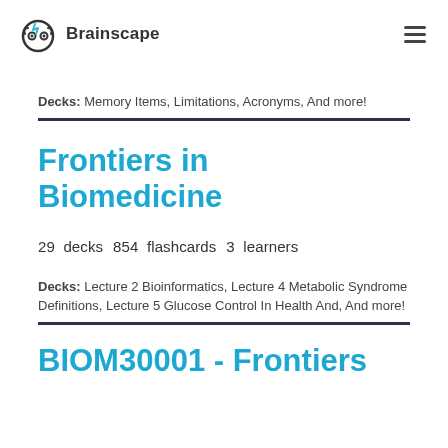Brainscape
Decks: Memory Items, Limitations, Acronyms, And more!
Frontiers in Biomedicine
29 decks  854 flashcards  3 learners
Decks: Lecture 2 Bioinformatics, Lecture 4 Metabolic Syndrome Definitions, Lecture 5 Glucose Control In Health And, And more!
BIOM30001 - Frontiers